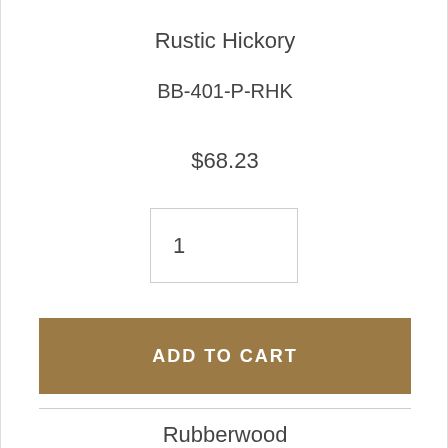Rustic Hickory
BB-401-P-RHK
$68.23
1
ADD TO CART
Rubberwood